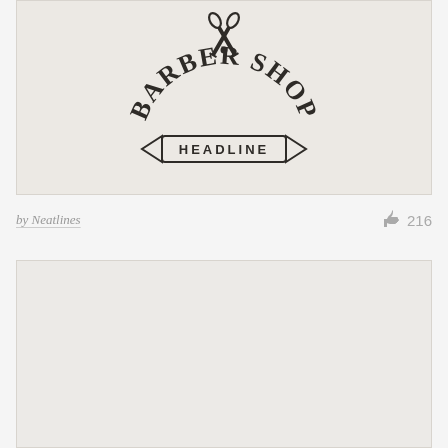[Figure (logo): Barber Shop Headline vintage logo with scissors crossed at top, bold serif text 'BARBER SHOP' arched, and a banner ribbon with 'HEADLINE' on a light textured background]
by Neatlines
216
[Figure (photo): Light gray/beige textured background image, mostly empty/blank]